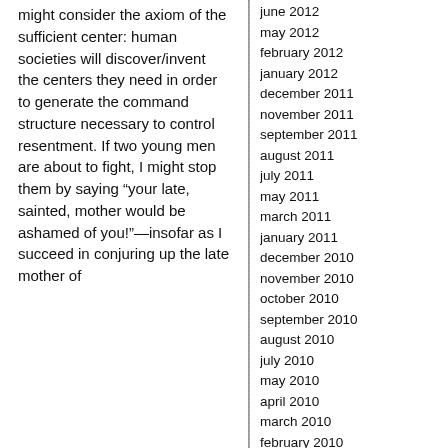might consider the axiom of the sufficient center: human societies will discover/invent the centers they need in order to generate the command structure necessary to control resentment. If two young men are about to fight, I might stop them by saying "your late, sainted, mother would be ashamed of you!"—insofar as I succeed in conjuring up the late mother of
june 2012
may 2012
february 2012
january 2012
december 2011
november 2011
september 2011
august 2011
july 2011
may 2011
march 2011
january 2011
december 2010
november 2010
october 2010
september 2010
august 2010
july 2010
may 2010
april 2010
march 2010
february 2010
january 2010
december 2009
november 2009
october 2009
september 2009
august 2009
july 2009
june 2009
may 2009
april 2009
march 2009